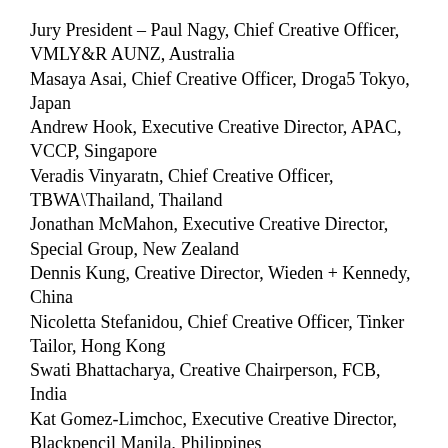Jury President – Paul Nagy, Chief Creative Officer, VMLY&R AUNZ, Australia
Masaya Asai, Chief Creative Officer, Droga5 Tokyo, Japan
Andrew Hook, Executive Creative Director, APAC, VCCP, Singapore
Veradis Vinyaratn, Chief Creative Officer, TBWA\Thailand, Thailand
Jonathan McMahon, Executive Creative Director, Special Group, New Zealand
Dennis Kung, Creative Director, Wieden + Kennedy, China
Nicoletta Stefanidou, Chief Creative Officer, Tinker Tailor, Hong Kong
Swati Bhattacharya, Creative Chairperson, FCB, India
Kat Gomez-Limchoc, Executive Creative Director, Blackpencil Manila, Philippines
Healthcare Jury
Jury President – Wendy Chan (pictured top left), Chief Creative